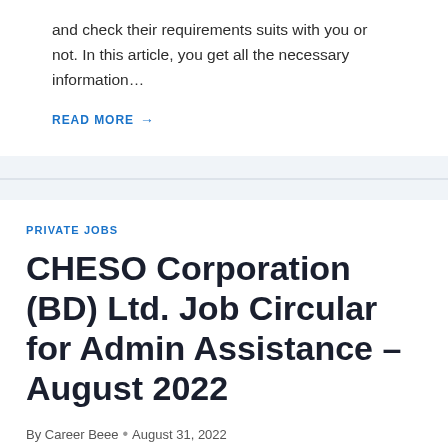and check their requirements suits with you or not. In this article, you get all the necessary information…
READ MORE →
PRIVATE JOBS
CHESO Corporation (BD) Ltd. Job Circular for Admin Assistance – August 2022
By Career Beee • August 31, 2022